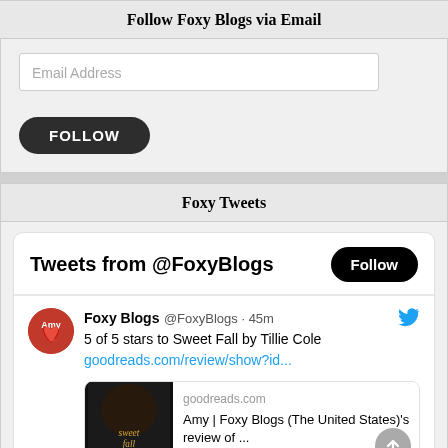Follow Foxy Blogs via Email
Email Address
FOLLOW
Foxy Tweets
[Figure (screenshot): Twitter widget showing tweets from @FoxyBlogs, with a Follow button, a tweet by Foxy Blogs @FoxyBlogs 45m saying '5 of 5 stars to Sweet Fall by Tillie Cole goodreads.com/review/show?id...' and a preview card showing goodreads.com with text 'Amy | Foxy Blogs (The United States)'s review of ...']